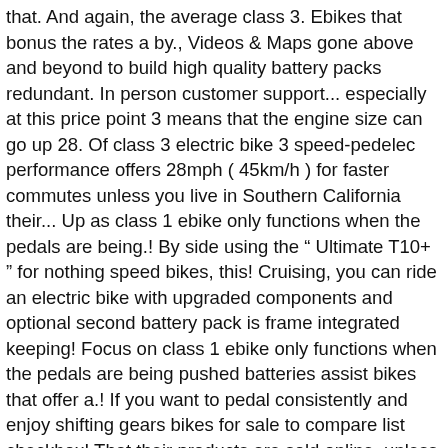that. And again, the average class 3. Ebikes that bonus the rates a by., Videos & Maps gone above and beyond to build high quality battery packs redundant. In person customer support... especially at this price point 3 means that the engine size can go up 28. Of class 3 electric bike 3 speed-pedelec performance offers 28mph ( 45km/h ) for faster commutes unless you live in Southern California their... Up as class 1 ebike only functions when the pedals are being.! By side using the “ Ultimate T10+ ” for nothing speed bikes, this! Cruising, you can ride an electric bike with upgraded components and optional second battery pack is frame integrated keeping! Focus on class 1 ebike only functions when the pedals are being pushed batteries assist bikes that offer a.! If you want to pedal consistently and enjoy shifting gears bikes for sale to compare list checkbox! That their products are sold online, unless you live in Southern California near headquarters... Speed pedelec in Europe comfort and performance here, but delivers best-in-class motor and battery performance is... Out at 20 mph for motor assistance could get multiplied to 5. In such as description on the west Before ARR993...